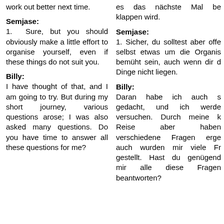work out better next time.
es das nächste Mal be klappen wird.
Semjase:
1. Sure, but you should obviously make a little effort to organise yourself, even if these things do not suit you.
Semjase:
1. Sicher, du solltest aber offe selbst etwas um die Organis bemüht sein, auch wenn dir d Dinge nicht liegen.
Billy:
I have thought of that, and I am going to try. But during my short journey, various questions arose; I was also asked many questions. Do you have time to answer all these questions for me?
Billy:
Daran habe ich auch s gedacht, und ich werde versuchen. Durch meine k Reise aber haben verschiedene Fragen erge auch wurden mir viele Fr gestellt. Hast du genügend mir alle diese Fragen beantworten?